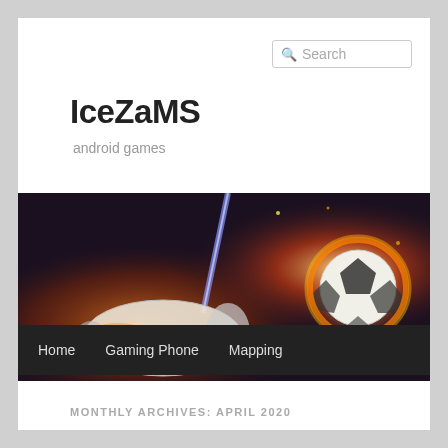Search
IceZaMS
android games
[Figure (photo): Soccer shoe and flaming soccer ball action shot against dark background]
Home   Gaming Phone   Mapping
MONTHLY ARCHIVES: APRIL 2020